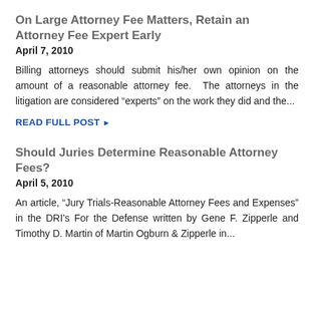On Large Attorney Fee Matters, Retain an Attorney Fee Expert Early
April 7, 2010
Billing attorneys should submit his/her own opinion on the amount of a reasonable attorney fee.  The attorneys in the litigation are considered “experts” on the work they did and the…
READ FULL POST ▶
Should Juries Determine Reasonable Attorney Fees?
April 5, 2010
An article, “Jury Trials-Reasonable Attorney Fees and Expenses” in the DRI’s For the Defense written by Gene F. Zipperle and Timothy D. Martin of Martin Ogburn & Zipperle in…